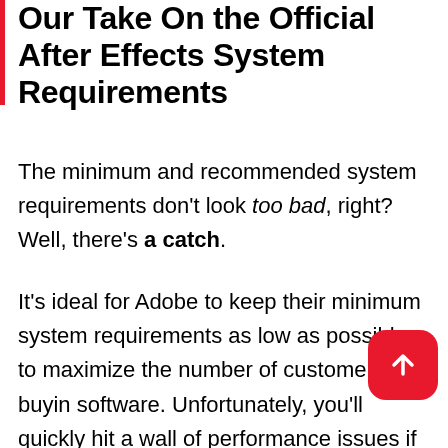Our Take On the Official After Effects System Requirements
The minimum and recommended system requirements don't look too bad, right? Well, there's a catch.
It's ideal for Adobe to keep their minimum system requirements as low as possible, to maximize the number of customers buying software. Unfortunately, you'll quickly hit a wall of performance issues if you're running After Effects on a PC that barely satisfies the minimum recommendations.